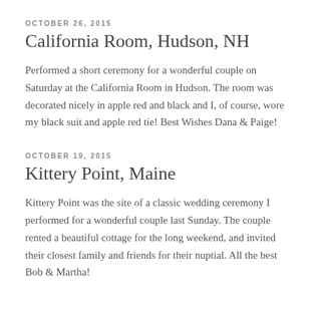OCTOBER 26, 2015
California Room, Hudson, NH
Performed a short ceremony for a wonderful couple on Saturday at the California Room in Hudson. The room was decorated nicely in apple red and black and I, of course, wore my black suit and apple red tie! Best Wishes Dana & Paige!
OCTOBER 19, 2015
Kittery Point, Maine
Kittery Point was the site of a classic wedding ceremony I performed for a wonderful couple last Sunday. The couple rented a beautiful cottage for the long weekend, and invited their closest family and friends for their nuptial. All the best Bob & Martha!